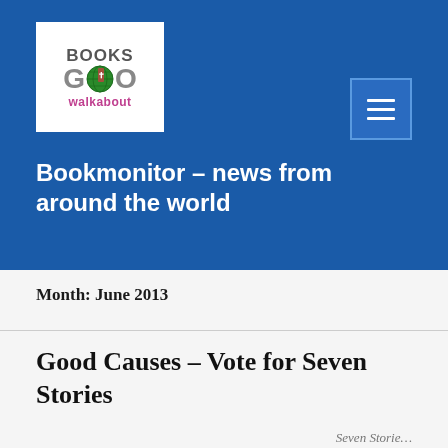[Figure (logo): Books Go Walkabout logo: colourful illustration with globe, books, text 'BOOKS GO walkabout' on white background]
Bookmonitor – news from around the world
Month: June 2013
Good Causes – Vote for Seven Stories